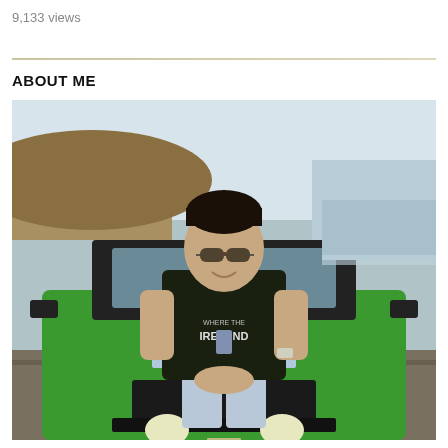9,133 views
ABOUT ME
[Figure (photo): A young man wearing sunglasses and a black Ireland t-shirt sitting on the hood of a green off-road vehicle, with a beach and hills in the background.]